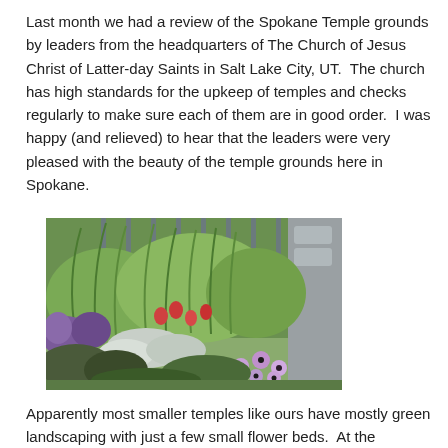Last month we had a review of the Spokane Temple grounds by leaders from the headquarters of The Church of Jesus Christ of Latter-day Saints in Salt Lake City, UT.  The church has high standards for the upkeep of temples and checks regularly to make sure each of them are in good order.  I was happy (and relieved) to hear that the leaders were very pleased with the beauty of the temple grounds here in Spokane.
[Figure (photo): Photograph of garden flower beds at the Spokane Temple grounds, showing ornamental grasses, purple salvia, red flowers, silver dusty miller, and purple/white daisy-like flowers in front of a metal fence and stone pillar.]
Apparently most smaller temples like ours have mostly green landscaping with just a few small flower beds.  At the Spokane Temple, the grounds are a more colorful show.